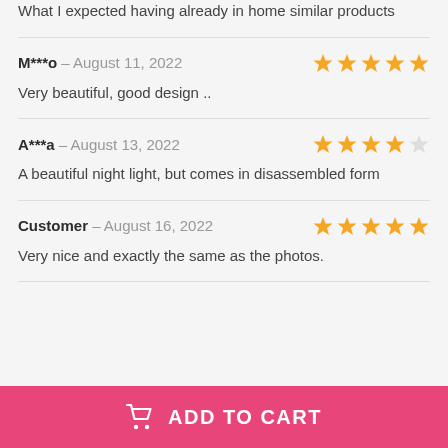What I expected having already in home similar products
M***o – August 11, 2022
Very beautiful, good design ..
A***a – August 13, 2022
A beautiful night light, but comes in disassembled form
Customer – August 16, 2022
Very nice and exactly the same as the photos.
ADD TO CART